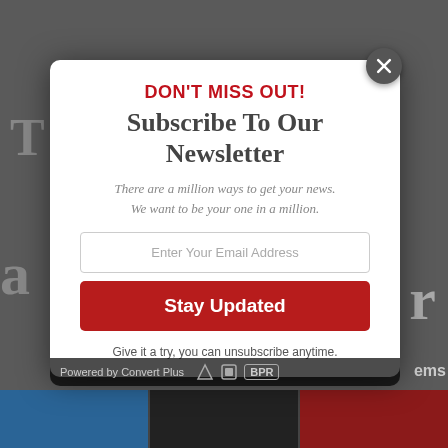[Figure (screenshot): Website popup modal for newsletter subscription on a news website. Modal contains headline DON'T MISS OUT!, Subscribe To Our Newsletter heading, italic tagline, email input, Stay Updated button, and unsubscribe note. Background shows darkened news website.]
DON'T MISS OUT!
Subscribe To Our Newsletter
There are a million ways to get your news. We want to be your one in a million.
Enter Your Email Address
Stay Updated
Give it a try, you can unsubscribe anytime.
Powered by Convert Plus